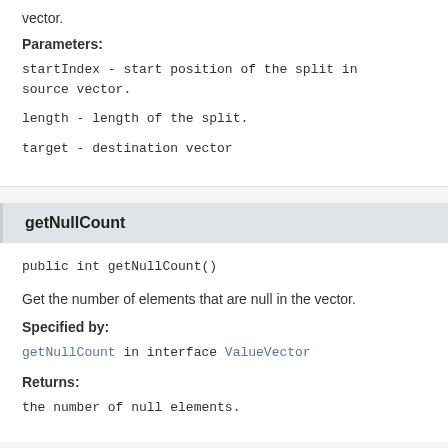vector.
Parameters:
startIndex - start position of the split in source vector.
length - length of the split.
target - destination vector
getNullCount
public int getNullCount()
Get the number of elements that are null in the vector.
Specified by:
getNullCount in interface ValueVector
Returns:
the number of null elements.